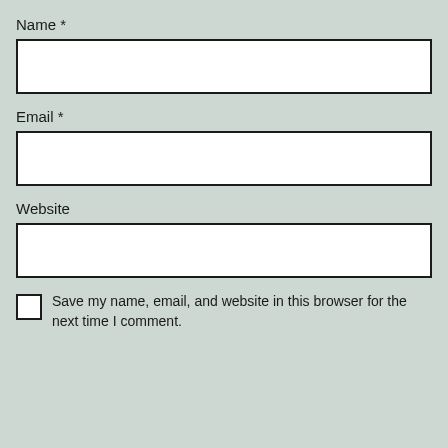Name *
[Figure (other): Empty text input box for Name field]
Email *
[Figure (other): Empty text input box for Email field]
Website
[Figure (other): Empty text input box for Website field]
Save my name, email, and website in this browser for the next time I comment.